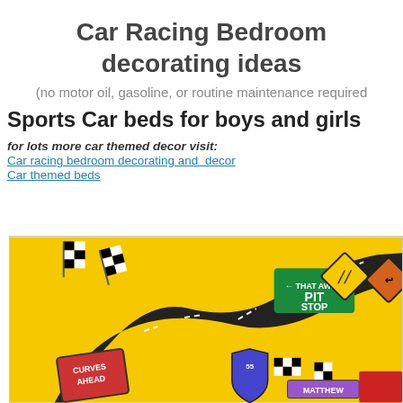Car Racing Bedroom decorating ideas
(no motor oil, gasoline, or routine maintenance required
Sports Car beds for boys and girls
for lots more car themed decor visit:
Car racing bedroom decorating and  decor
Car themed beds
[Figure (photo): Car racing bedroom decoration items on a yellow background including a winding road track, checkered flags, pit stop sign, road signs, and racing decorations with name tag 'MATTHEW']